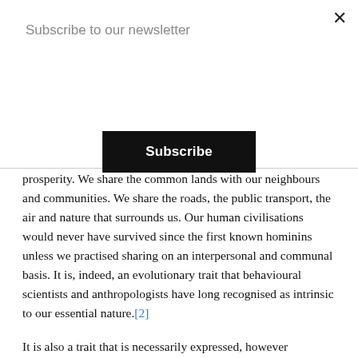Subscribe to our newsletter
Subscribe
prosperity. We share the common lands with our neighbours and communities. We share the roads, the public transport, the air and nature that surrounds us. Our human civilisations would never have survived since the first known hominins unless we practised sharing on an interpersonal and communal basis. It is, indeed, an evolutionary trait that behavioural scientists and anthropologists have long recognised as intrinsic to our essential nature.[2]
It is also a trait that is necessarily expressed, however incipiently or insufficiently, on both national and global levels through appropriate government activity on behalf of the common good. The Roman Empire is renowned for institutionalising many forms of economic sharing, for example, while the contemporary welfare state has its roots in the social